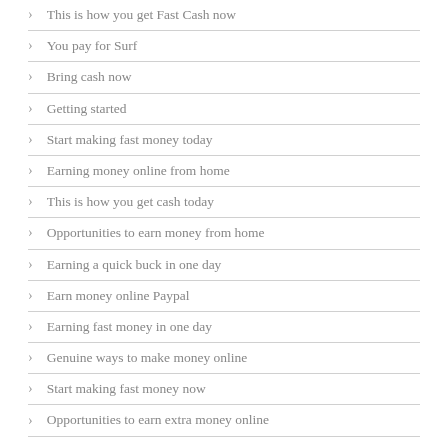This is how you get Fast Cash now
You pay for Surf
Bring cash now
Getting started
Start making fast money today
Earning money online from home
This is how you get cash today
Opportunities to earn money from home
Earning a quick buck in one day
Earn money online Paypal
Earning fast money in one day
Genuine ways to make money online
Start making fast money now
Opportunities to earn extra money online
Earning instant money